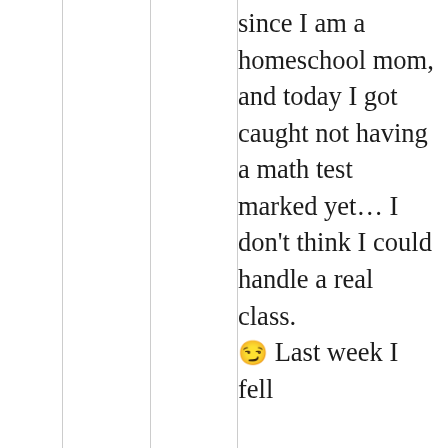since I am a homeschool mom, and today I got caught not having a math test marked yet… I don't think I could handle a real class. 😏 Last week I fell